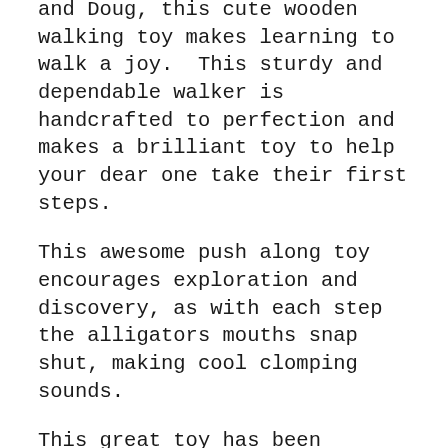and Doug, this cute wooden walking toy makes learning to walk a joy.  This sturdy and dependable walker is handcrafted to perfection and makes a brilliant toy to help your dear one take their first steps.
This awesome push along toy encourages exploration and discovery, as with each step the alligators mouths snap shut, making cool clomping sounds.
This great toy has been designed to instill a sense of wonder an excitement in your children without flashing lights or electric sounds, so if you are looking for a great retro or wooden walker for your child, this might be something to look at.